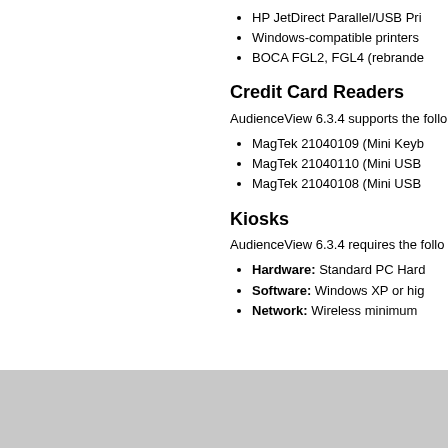HP JetDirect Parallel/USB Pri...
Windows-compatible printers
BOCA FGL2, FGL4 (rebrande...
Credit Card Readers
AudienceView 6.3.4 supports the follo...
MagTek 21040109 (Mini Keyb...
MagTek 21040110 (Mini USB...
MagTek 21040108 (Mini USB...
Kiosks
AudienceView 6.3.4 requires the follo...
Hardware: Standard PC Hard...
Software: Windows XP or hig...
Network: Wireless minimum ...